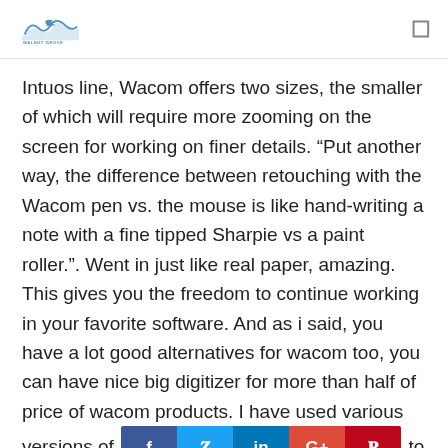Walnut Grove [logo]
Intuos line, Wacom offers two sizes, the smaller of which will require more zooming on the screen for working on finer details. “Put another way, the difference between retouching with the Wacom pen vs. the mouse is like hand-writing a note with a fine tipped Sharpie vs a paint roller.”. Went in just like real paper, amazing. This gives you the freedom to continue working in your favorite software. And as i said, you have a lot good alternatives for wacom too, you can have nice big digitizer for more than half of price of wacom products. I have used various versions of [social share bar: f | in | G+ | P] to v6.14) on my Tablet PC’s. Calling me "one of them" is also